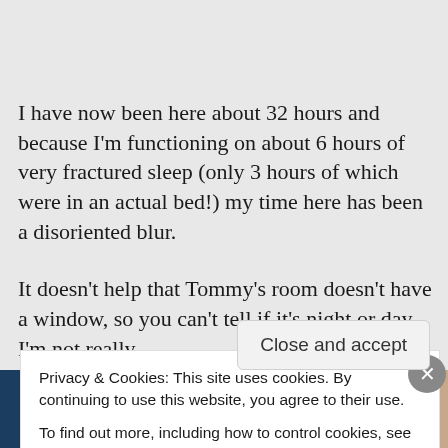I have now been here about 32 hours and because I'm functioning on about 6 hours of very fractured sleep (only 3 hours of which were in an actual bed!) my time here has been a disoriented blur.
It doesn't help that Tommy's room doesn't have a window, so you can't tell if it's night or day. I'm not really [text continues below cookie banner]
Privacy & Cookies: This site uses cookies. By continuing to use this website, you agree to their use.
To find out more, including how to control cookies, see here: Cookie Policy
[Figure (screenshot): Bottom strip showing partial image: dark blue left portion and skin-toned right portion, partially visible below cookie banner]